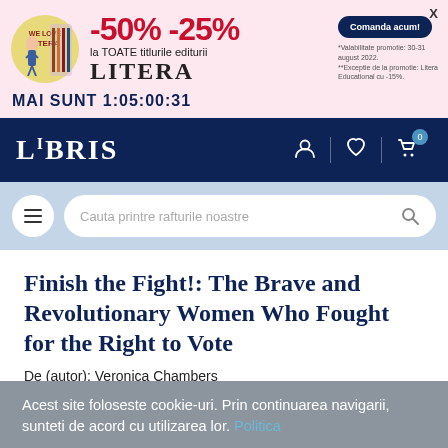[Figure (screenshot): Litera publisher promotional banner with pink background, showing -50% -25% discount on all Litera titles, with a blue 'Comanda acum!' button and small print about promotion validity.]
MAI SUNT 1:05:00:31
[Figure (logo): LIBRIS logo in white on dark navy background with navigation icons (user, heart, cart with badge 0)]
[Figure (screenshot): Search bar with hamburger menu and placeholder text 'Cauta printre rafturile noastre' on light blue background]
Finish the Fight!: The Brave and Revolutionary Women Who Fought for the Right to Vote
De (autor): Veronica Chambers
★★★★☆ review Goodreads
Acest site foloseste cookie-uri. Prin continuarea navigarii, sunteti de acord cu utilizarea lor. Politica